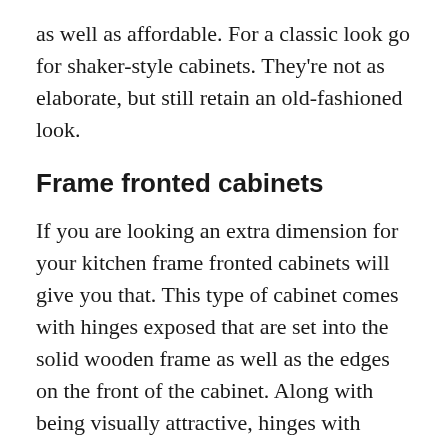as well as affordable. For a classic look go for shaker-style cabinets. They're not as elaborate, but still retain an old-fashioned look.
Frame fronted cabinets
If you are looking an extra dimension for your kitchen frame fronted cabinets will give you that. This type of cabinet comes with hinges exposed that are set into the solid wooden frame as well as the edges on the front of the cabinet. Along with being visually attractive, hinges with exposed edges are more durable than other joinery methods.